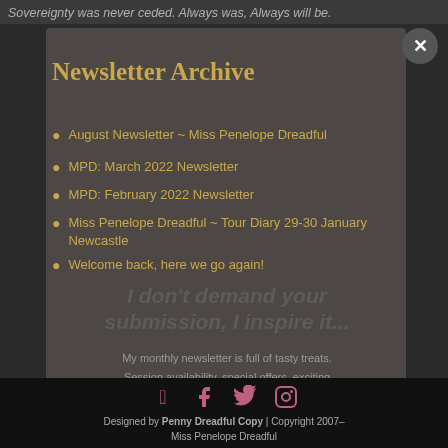Sovereignty was never ceded. Always was, Always will be.
Newsletter Archive
August Newsletter ~ Miss Penelope Dreadful
MPD: March 2022 Newsletter
MPD: February 2022 Newsletter
Miss Penelope Dreadful ~ Tour Diary 29-30 January Newcastle
Welcome back, here we go again!
I don't demand your submission, I inspire it...
My monthly newsletter is full of tasty treats. Session availability, special offers, exciting and potentially terrible ideas. Puns. Definitely
Designed by Penny Dreadful Copy | Copyright 2007– Miss Penelope Dreadful